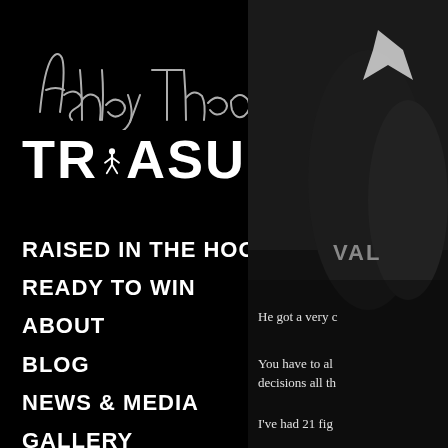[Figure (logo): Ashley Theophane Treasure logo with cursive signature above bold TREASURE text in white on black background]
[Figure (photo): Black and white photo of a boxer or fighter, partially visible on the right side of the page, wearing a jersey with VAL visible]
RAISED IN THE HOOD
READY TO WIN
ABOUT
BLOG
NEWS & MEDIA
GALLERY
He got a very c
You have to al decisions all th
I've had 21 fig